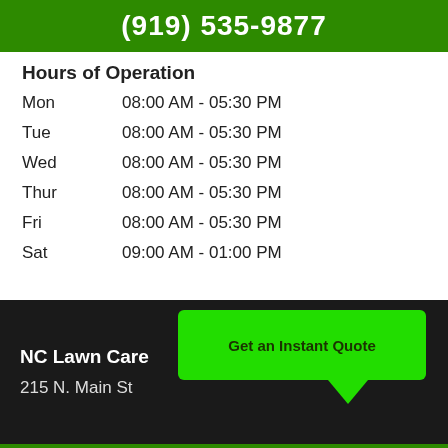(919) 535-9877
Hours of Operation
| Day | Hours |
| --- | --- |
| Mon | 08:00 AM - 05:30 PM |
| Tue | 08:00 AM - 05:30 PM |
| Wed | 08:00 AM - 05:30 PM |
| Thur | 08:00 AM - 05:30 PM |
| Fri | 08:00 AM - 05:30 PM |
| Sat | 09:00 AM - 01:00 PM |
[Figure (infographic): Green speech bubble button with text 'Get an Instant Quote' on a dark background]
NC Lawn Care
215 N. Main St
HOURS   MAP